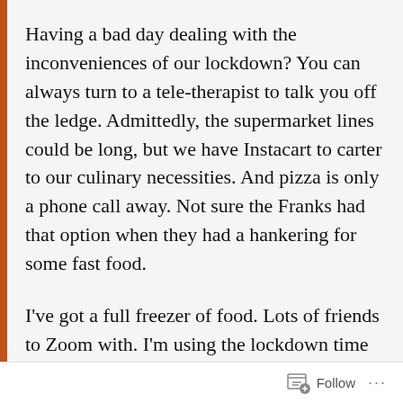Having a bad day dealing with the inconveniences of our lockdown? You can always turn to a tele-therapist to talk you off the ledge. Admittedly, the supermarket lines could be long, but we have Instacart to carter to our culinary necessities. And pizza is only a phone call away. Not sure the Franks had that option when they had a hankering for some fast food.
I've got a full freezer of food. Lots of friends to Zoom with. I'm using the lockdown time to finish a book and retool my business. And when I get peckish from being corralled inside for too
Follow